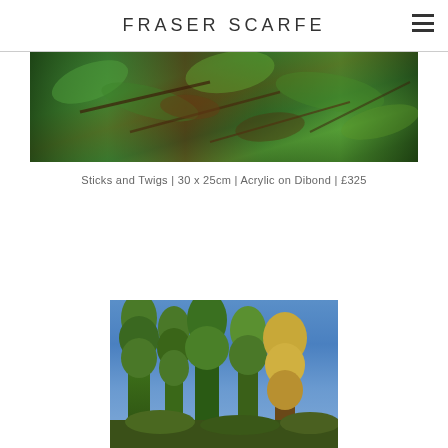FRASER SCARFE
[Figure (photo): A painting showing leafy twigs and branches with green foliage and brown tones, cropped to a wide horizontal strip]
Sticks and Twigs | 30 x 25cm | Acrylic on Dibond | £325
[Figure (photo): A painting showing tall trees with green and golden foliage against a bright blue sky]